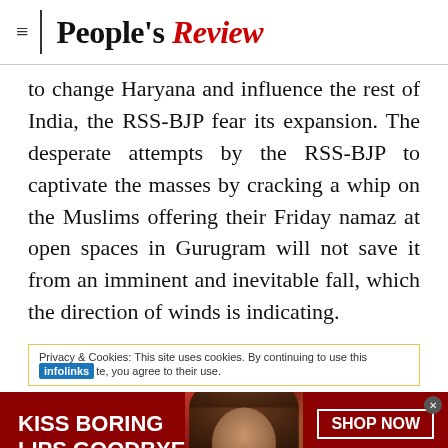People's Review
to change Haryana and influence the rest of India, the RSS-BJP fear its expansion. The desperate attempts by the RSS-BJP to captivate the masses by cracking a whip on the Muslims offering their Friday namaz at open spaces in Gurugram will not save it from an imminent and inevitable fall, which the direction of winds is indicating.
Privacy & Cookies: This site uses cookies. By continuing to use this site, you agree to their use.
[Figure (screenshot): Advertisement banner for Macy's lipstick promotion. Red background with text 'KISS BORING LIPS GOODBYE', image of woman's face with red lips, and 'SHOP NOW' button with Macy's star logo.]